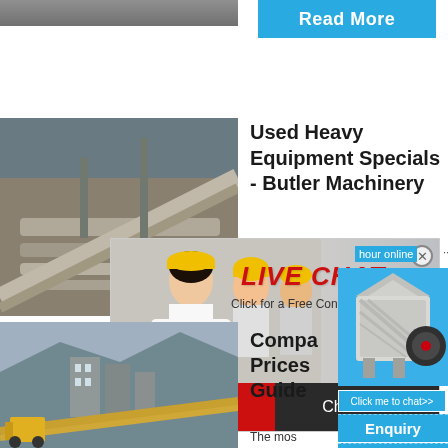[Figure (photo): Partial view of industrial machinery or conveyor equipment at top of page]
Read More
[Figure (photo): Industrial pipes and conveyor equipment inside a factory or mine]
Used Heavy Equipment Specials - Butler Machinery
[Figure (infographic): Live chat overlay popup with workers in hard hats, red LIVE CHAT text, 'Click for a Free Consultation', Chat now and Chat later buttons]
hour online
[Figure (photo): Industrial crusher/jaw crusher machinery on blue background]
Click me to chat>>
[Figure (photo): Open-pit mining or construction site with heavy equipment and conveyors]
Compare Prices Guide
The mos
Enquiry
limingjlmofen